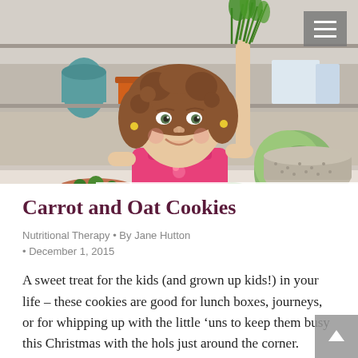[Figure (photo): Young girl with curly hair smiling in a kitchen, holding fresh green herbs above colorful vegetables including tomatoes, cucumbers, yellow peppers, and a green cabbage in a colander on a white counter.]
Carrot and Oat Cookies
Nutritional Therapy • By Jane Hutton • December 1, 2015
A sweet treat for the kids (and grown up kids!) in your life – these cookies are good for lunch boxes, journeys, or for whipping up with the little ‘uns to keep them busy this Christmas with the hols just around the corner.  Carrots add a vegetable